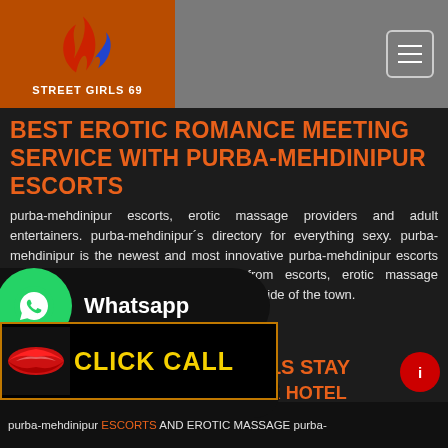STREET GIRLS 69
BEST EROTIC ROMANCE MEETING SERVICE WITH PURBA-MEHDINIPUR ESCORTS
purba-mehdinipur escorts, erotic massage providers and adult entertainers. purba-mehdinipur´s directory for everything sexy. purba-mehdinipur is the newest and most innovative purba-mehdinipur escorts and adult directory. Advertisements from escorts, erotic massage providers, and everything from the naughty side of the town.
RE GIRLS STAY INDEPENDENTLY IN 5 STAR HOTEL IN PURBA-
purba-mehdinipur ESCORTS AND EROTIC MASSAGE purba-